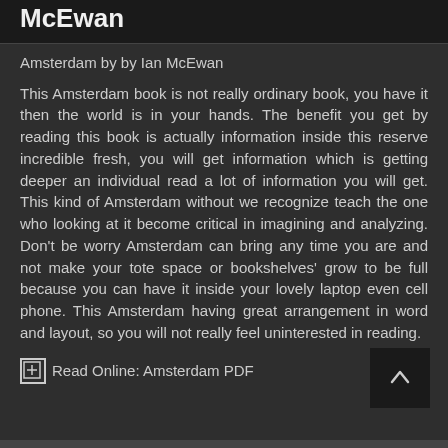McEwan
Amsterdam by by Ian McEwan
This Amsterdam book is not really ordinary book, you have it then the world is in your hands. The benefit you get by reading this book is actually information inside this reserve incredible fresh, you will get information which is getting deeper an individual read a lot of information you will get. This kind of Amsterdam without we recognize teach the one who looking at it become critical in imagining and analyzing. Don't be worry Amsterdam can bring any time you are and not make your tote space or bookshelves' grow to be full because you can have it inside your lovely laptop even cell phone. This Amsterdam having great arrangement in word and layout, so you will not really feel uninterested in reading.
Read Online: Amsterdam PDF